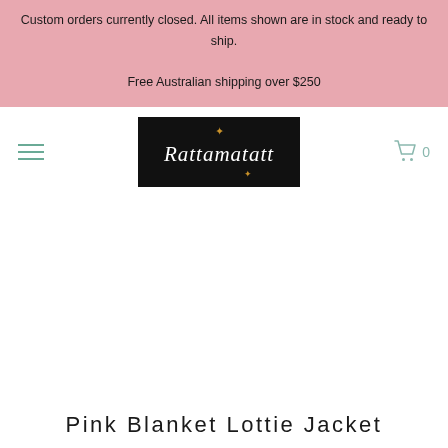Custom orders currently closed. All items shown are in stock and ready to ship.

Free Australian shipping over $250
[Figure (logo): Rattamatatt logo on black background with decorative script font and gold star accents]
Pink Blanket Lottie Jacket